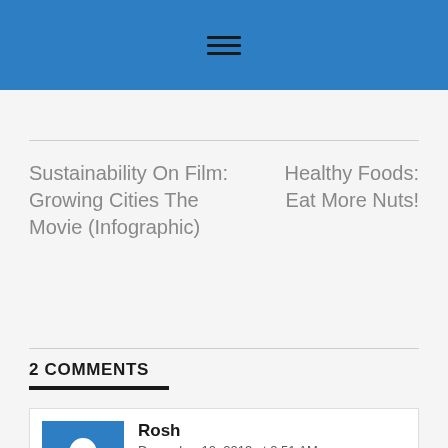[Figure (other): Blue header bar with hamburger menu icon (three horizontal lines)]
Sustainability On Film: Growing Cities The Movie (Infographic)
Healthy Foods: Eat More Nuts!
2 COMMENTS
Rosh
December 10, 2013 at 2:51 AM
REPLY